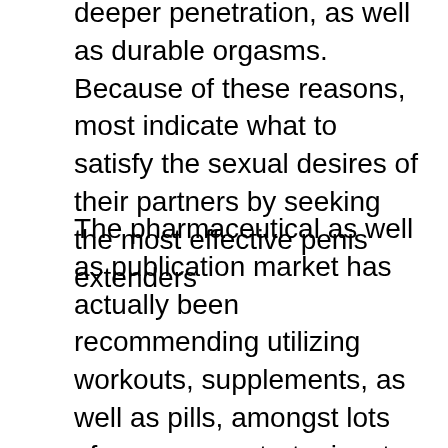deeper penetration, as well as durable orgasms. Because of these reasons, most indicate what to satisfy the sexual desires of their partners by seeking the most effective penis extenders
The pharmaceutical as well as publication market has actually been recommending utilizing workouts, supplements, as well as pills, amongst lots of even more strategies, to improve the length as well as girth of the penile cells. Nevertheless, it is not verified whether these strategies provide impressive efficiency. In the past years' guys raised the size of their penis through penis augmentation surgery or perhaps penile traction treatment. Fortunately, doctors have actually verified that penile extenders